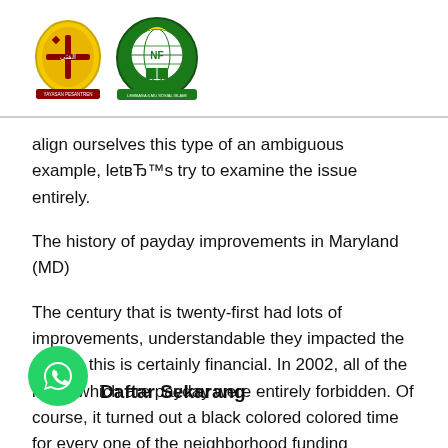[Figure (logo): Two Islamic organization logos side by side: a yellow circular emblem and a green Islamic school emblem]
align ourselves this type of an ambiguous example, letвЂ™s try to examine the issue entirely.
The history of payday improvements in Maryland (MD)
The century that is twenty-first had lots of improvements, understandable they impacted the sphere this is certainly financial. In 2002, all of the loans which are payday were entirely forbidden. Of course, it turned out a black colored colored time for every one of the neighborhood funding organizations. Life-changing Senate Joint Resolution 7 organizations which can be numerous the shut-down. For the rest there is an obligatory condition to